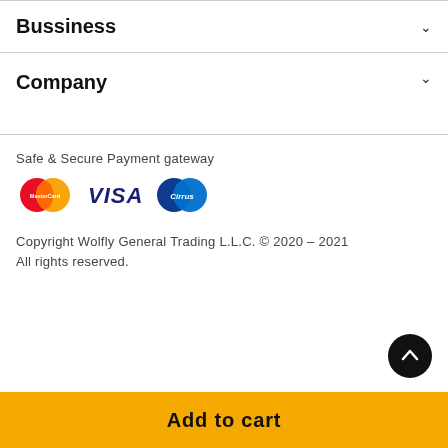Bussiness
Company
Safe & Secure Payment gateway
[Figure (logo): Payment gateway logos: MasterCard, VISA, Cirrus]
Copyright Wolfly General Trading L.L.C. © 2020 - 2021 All rights reserved.
Add to cart